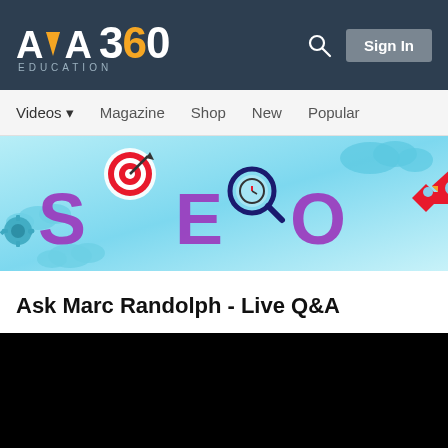AVA 360 EDUCATION
[Figure (screenshot): Navigation bar with Videos, Magazine, Shop, New, Popular menu items]
[Figure (illustration): SEO themed banner with colorful 3D letters S, E, O, target icon, magnifying glass, rocket, clouds, and gears on light blue background]
Ask Marc Randolph - Live Q&A
[Figure (screenshot): Black video player area]